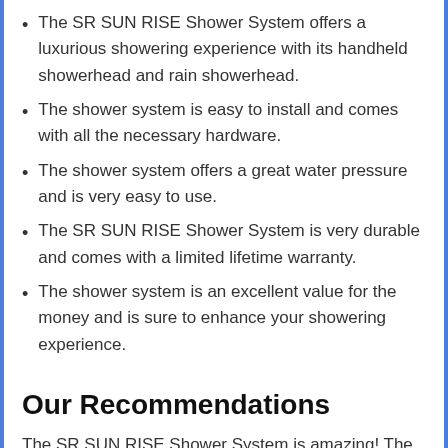The SR SUN RISE Shower System offers a luxurious showering experience with its handheld showerhead and rain showerhead.
The shower system is easy to install and comes with all the necessary hardware.
The shower system offers a great water pressure and is very easy to use.
The SR SUN RISE Shower System is very durable and comes with a limited lifetime warranty.
The shower system is an excellent value for the money and is sure to enhance your showering experience.
Our Recommendations
The SR SUN RISE Shower System is amazing! The handheld showerhead is great for getting into those hard-